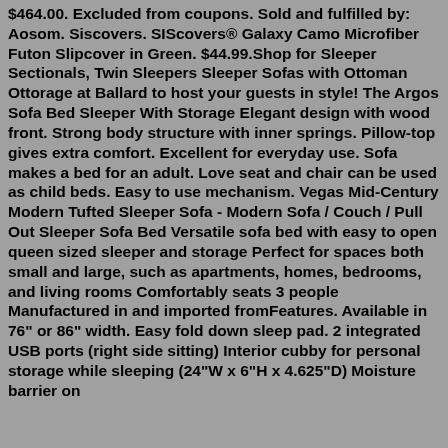$464.00. Excluded from coupons. Sold and fulfilled by: Aosom. Siscovers. SIScovers® Galaxy Camo Microfiber Futon Slipcover in Green. $44.99.Shop for Sleeper Sectionals, Twin Sleepers Sleeper Sofas with Ottoman Ottorage at Ballard to host your guests in style! The Argos Sofa Bed Sleeper With Storage Elegant design with wood front. Strong body structure with inner springs. Pillow-top gives extra comfort. Excellent for everyday use. Sofa makes a bed for an adult. Love seat and chair can be used as child beds. Easy to use mechanism. Vegas Mid-Century Modern Tufted Sleeper Sofa - Modern Sofa / Couch / Pull Out Sleeper Sofa Bed Versatile sofa bed with easy to open queen sized sleeper and storage Perfect for spaces both small and large, such as apartments, homes, bedrooms, and living rooms Comfortably seats 3 people Manufactured in and imported fromFeatures. Available in 76" or 86" width. Easy fold down sleep pad. 2 integrated USB ports (right side sitting) Interior cubby for personal storage while sleeping (24"W x 6"H x 4.625"D) Moisture barrier on